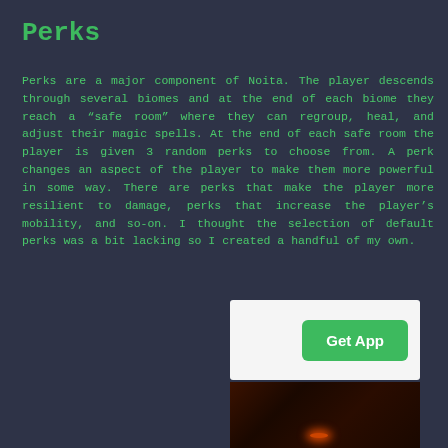Perks
Perks are a major component of Noita. The player descends through several biomes and at the end of each biome they reach a “safe room” where they can regroup, heal, and adjust their magic spells. At the end of each safe room the player is given 3 random perks to choose from. A perk changes an aspect of the player to make them more powerful in some way. There are perks that make the player more resilient to damage, perks that increase the player’s mobility, and so-on. I thought the selection of default perks was a bit lacking so I created a handful of my own.
[Figure (screenshot): App advertisement panel with a green 'Get App' button on a light grey background, above a dark screenshot from the game Noita showing a dark cave environment with faint glowing red lights.]